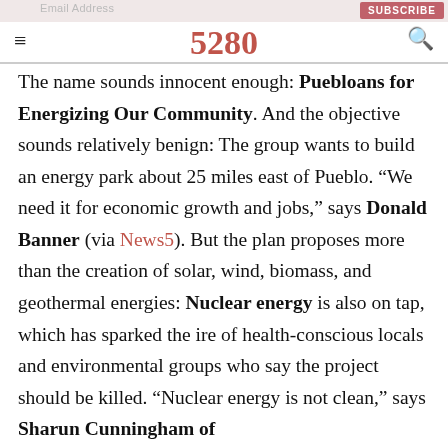5280
The name sounds innocent enough: Puebloans for Energizing Our Community. And the objective sounds relatively benign: The group wants to build an energy park about 25 miles east of Pueblo. “We need it for economic growth and jobs,” says Donald Banner (via News5). But the plan proposes more than the creation of solar, wind, biomass, and geothermal energies: Nuclear energy is also on tap, which has sparked the ire of health-conscious locals and environmental groups who say the project should be killed. “Nuclear energy is not clean,” says Sharun Cunningham of